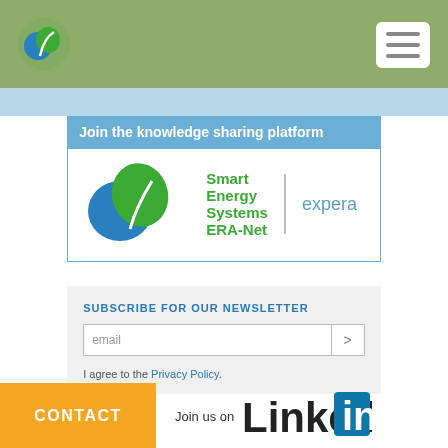[Figure (logo): Green leaf/circle logo in header bar with hamburger menu button]
Join the knowledge sharing platform
[Figure (logo): Smart Energy Systems ERA-Net | expera logo]
SUBSCRIBE FOR OUR NEWSLETTER
email
I agree to the Privacy Policy.
CONTACT
Join us on
[Figure (logo): LinkedIn logo]